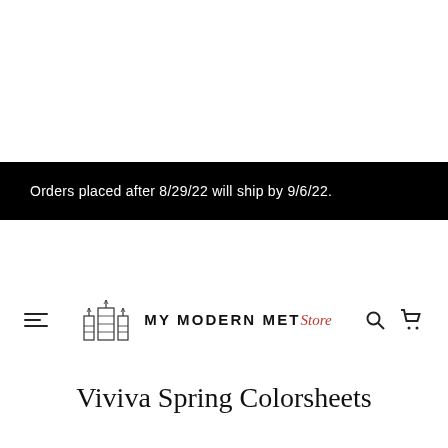Orders placed after 8/29/22 will ship by 9/6/22.
[Figure (logo): My Modern Met Store logo with building icon and text]
Viviva Spring Colorsheets